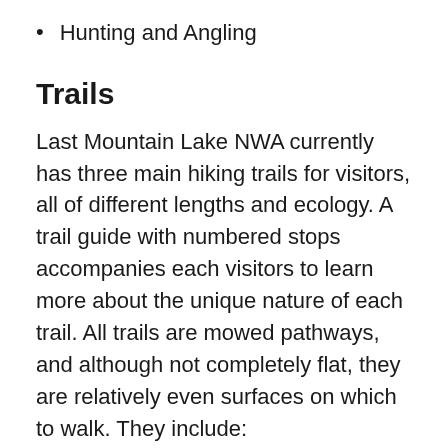Hunting and Angling
Trails
Last Mountain Lake NWA currently has three main hiking trails for visitors, all of different lengths and ecology. A trail guide with numbered stops accompanies each visitors to learn more about the unique nature of each trail. All trails are mowed pathways, and although not completely flat, they are relatively even surfaces on which to walk. They include:
Shore-to-Sky trail: Located next to the